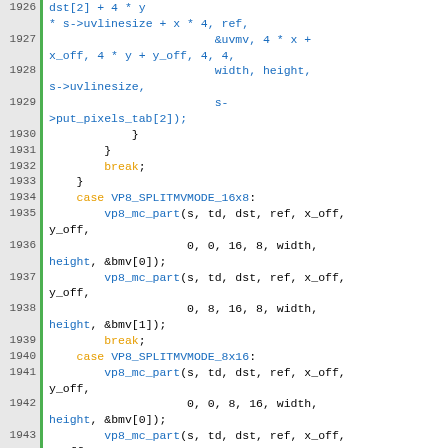[Figure (screenshot): Source code listing lines 1926-1947 in monospace font with line numbers in grey background and green left border. Code shows C/C++ VP8 motion compensation logic with keywords in orange, function/variable names in blue.]